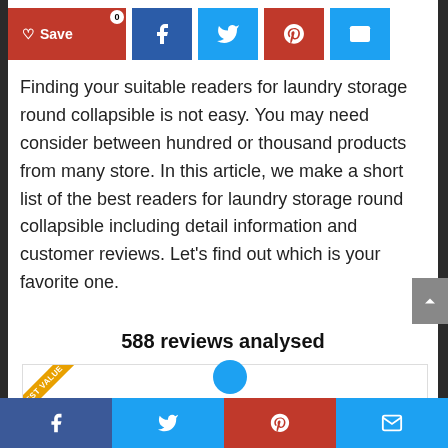[Figure (other): Social share bar with Save (heart), Facebook, Twitter, Pinterest, and Email buttons. Badge showing 0 on Save button.]
Finding your suitable readers for laundry storage round collapsible is not easy. You may need consider between hundred or thousand products from many store. In this article, we make a short list of the best readers for laundry storage round collapsible including detail information and customer reviews. Let’s find out which is your favorite one.
588 reviews analysed
[Figure (other): Product card with BEST VALUE ribbon in gold/yellow diagonal banner at top-left corner. Teal circular icon visible at bottom.]
[Figure (other): Bottom share bar with Facebook, Twitter, Pinterest, and Email icon buttons.]